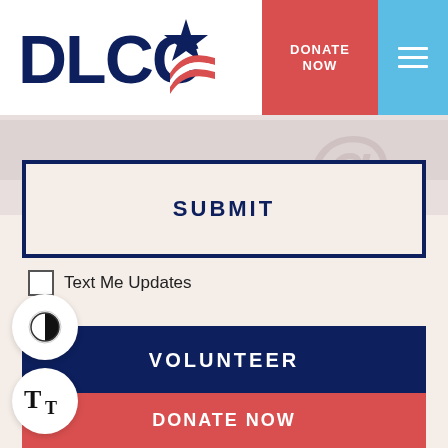[Figure (logo): DLCC logo with star and flag graphic]
DONATE NOW
[Figure (other): Hamburger menu icon]
SUBMIT
Text Me Updates
VOLUNTEER
SPOTLIGHT RACES
DONATE NOW